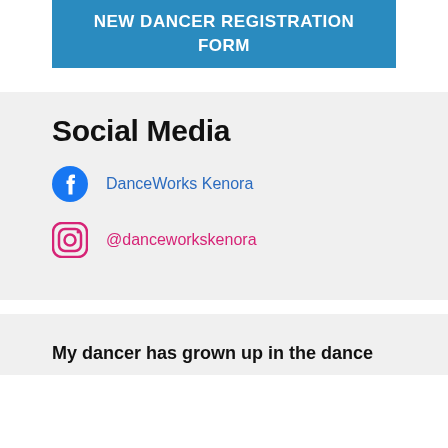NEW DANCER REGISTRATION FORM
Social Media
DanceWorks Kenora
@danceworkskenora
My dancer has grown up in the dance